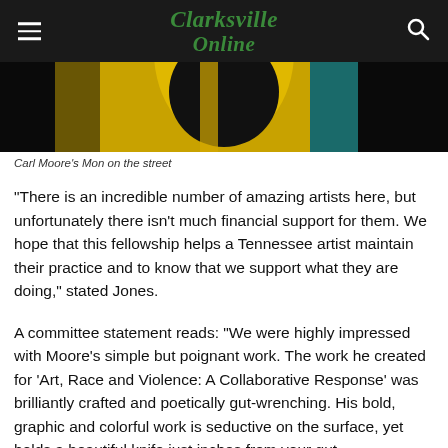Clarksville Online
[Figure (photo): Cropped view of an artwork showing bold yellow, black, and teal colors — Carl Moore's Mon on the street]
Carl Moore's Mon on the street
“There is an incredible number of amazing artists here, but unfortunately there isn’t much financial support for them. We hope that this fellowship helps a Tennessee artist maintain their practice and to know that we support what they are doing,” stated Jones.
A committee statement reads: “We were highly impressed with Moore’s simple but poignant work. The work he created for ‘Art, Race and Violence: A Collaborative Response’ was brilliantly crafted and poetically gut-wrenching. His bold, graphic and colorful work is seductive on the surface, yet holds a beautiful knife just inches from your gut.